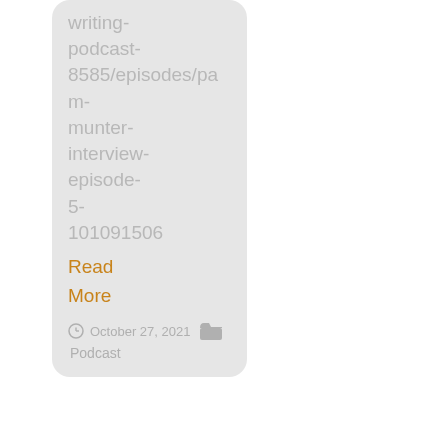writing-podcast-8585/episodes/pam-munter-interview-episode-5-101091506
Read More
October 27, 2021
Podcast
[Figure (illustration): Partial card at bottom with a play button circle and a dark red book thumbnail image]